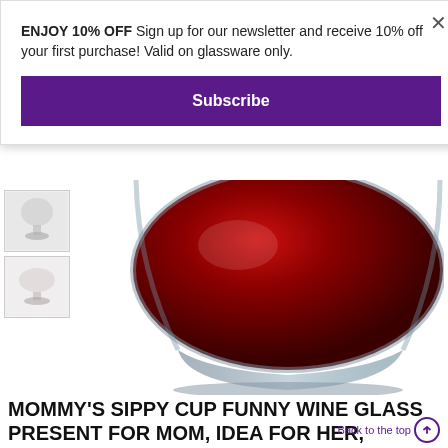ENJOY 10% OFF Sign up for our newsletter and receive 10% off your first purchase! Valid on glassware only.
Subscribe
[Figure (photo): Product photo of a wine glass filled with red wine, shown from below/side angle. Thumbnail images visible on left.]
MOMMY'S SIPPY CUP FUNNY WINE GLASS PRESENT FOR MOM, IDEA FOR HER, BIRTHDAY FOR MOM 15OZ
★★★★★ 53 reviews
BY MOMSTIR